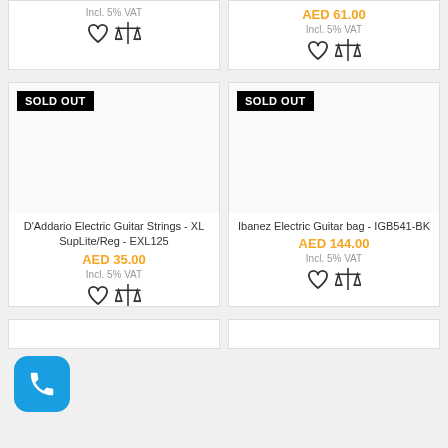Incl. 5% VAT
AED 61.00
Incl. 5% VAT
[Figure (other): SOLD OUT badge on D'Addario Electric Guitar Strings product card]
D'Addario Electric Guitar Strings - XL SupLite/Reg - EXL125
AED 35.00
Incl. 5% VAT
[Figure (other): SOLD OUT badge on Ibanez Electric Guitar bag product card]
Ibanez Electric Guitar bag - IGB541-BK
AED 144.00
Incl. 5% VAT